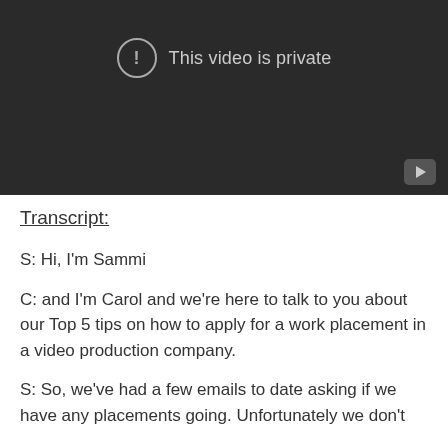[Figure (screenshot): YouTube video player showing 'This video is private' message with a warning icon circle and a play button in the bottom right corner. Dark background.]
Transcript:
S: Hi, I'm Sammi
C: and I'm Carol and we're here to talk to you about our Top 5 tips on how to apply for a work placement in a video production company.
S: So, we've had a few emails to date asking if we have any placements going. Unfortunately we don't